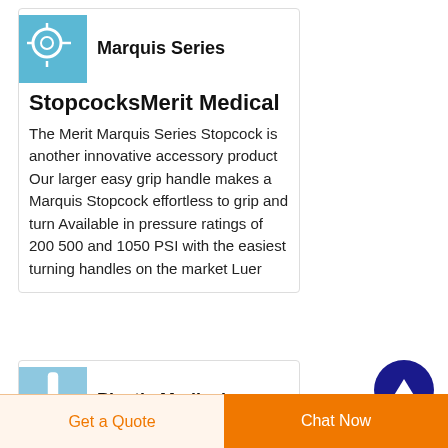[Figure (photo): Blue image of a stopcock medical device in the card header]
Marquis Series StopcocksMerit Medical
The Merit Marquis Series Stopcock is another innovative accessory product Our larger easy grip handle makes a Marquis Stopcock effortless to grip and turn Available in pressure ratings of 200 500 and 1050 PSI with the easiest turning handles on the market Luer
[Figure (photo): Blue image of a plastic medical device in the second card header]
Plastic Medical